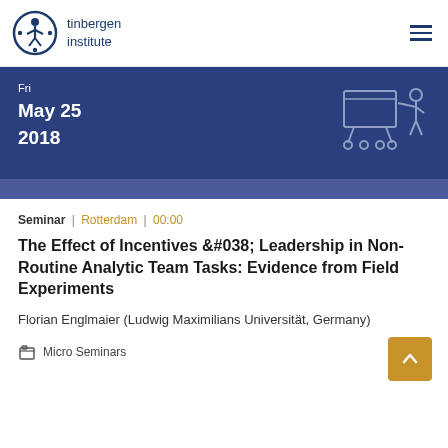tinbergen institute
[Figure (illustration): Tinbergen Institute logo — abstract circular figure with dots, and text 'tinbergen institute']
[Figure (illustration): Dark blue banner with date Fri May 25 2018 and an icon of a person presenting at a board/cart on the right]
Seminar | Rotterdam | 00:00
The Effect of Incentives &#038; Leadership in Non-Routine Analytic Team Tasks: Evidence from Field Experiments
Florian Englmaier (Ludwig Maximilians Universität, Germany)
Micro Seminars